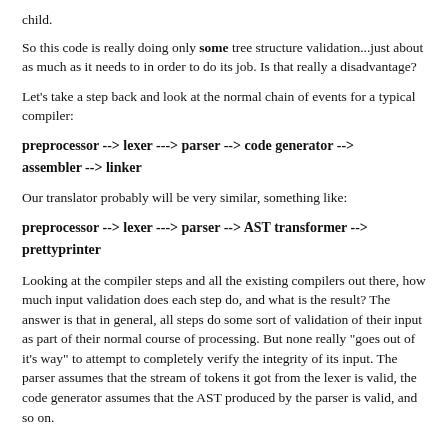child.
So this code is really doing only some tree structure validation...just about as much as it needs to in order to do its job. Is that really a disadvantage?
Let's take a step back and look at the normal chain of events for a typical compiler:
preprocessor --> lexer ---> parser --> code generator --> assembler --> linker
Our translator probably will be very similar, something like:
preprocessor --> lexer ---> parser --> AST transformer --> prettyprinter
Looking at the compiler steps and all the existing compilers out there, how much input validation does each step do, and what is the result? The answer is that in general, all steps do some sort of validation of their input as part of their normal course of processing. But none really "goes out of it's way" to attempt to completely verify the integrity of its input. The parser assumes that the stream of tokens it got from the lexer is valid, the code generator assumes that the AST produced by the parser is valid, and so on.